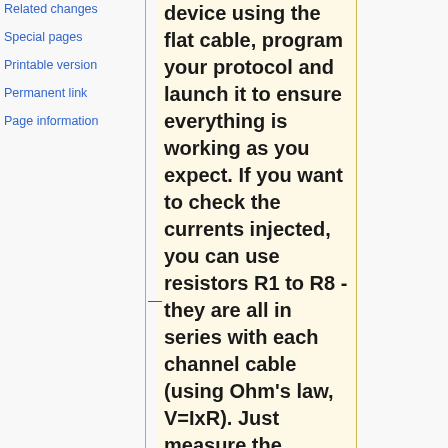Related changes
Special pages
Printable version
Permanent link
Page information
device using the flat cable, program your protocol and launch it to ensure everything is working as you expect. If you want to check the currents injected, you can use resistors R1 to R8 - they are all in series with each channel cable (using Ohm's law, V=IxR). Just measure the potential drop